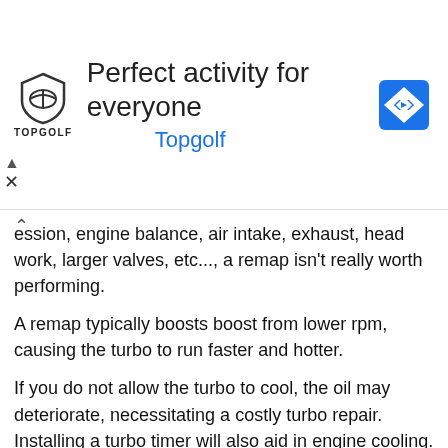[Figure (infographic): Topgolf advertisement banner with logo, headline 'Perfect activity for everyone', 'Topgolf' subtitle in blue, and a Google Maps-style navigation icon]
ession, engine balance, air intake, exhaust, head work, larger valves, etc..., a remap isn't really worth performing.
A remap typically boosts boost from lower rpm, causing the turbo to run faster and hotter.
If you do not allow the turbo to cool, the oil may deteriorate, necessitating a costly turbo repair. Installing a turbo timer will also aid in engine cooling.
Be careful of the peak Power Claims made by remapping businesses.
Tuners have been known to generate a power blip or surge in order to attract attention.
Take note of the figure below: instead of providing power across the complete torque curve, the more spectacular sounding 200bhp map (shown in red)